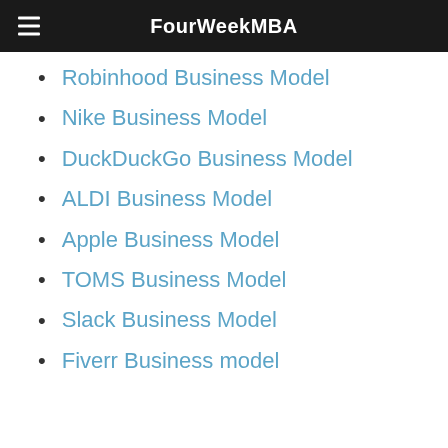FourWeekMBA
Robinhood Business Model
Nike Business Model
DuckDuckGo Business Model
ALDI Business Model
Apple Business Model
TOMS Business Model
Slack Business Model
Fiverr Business model